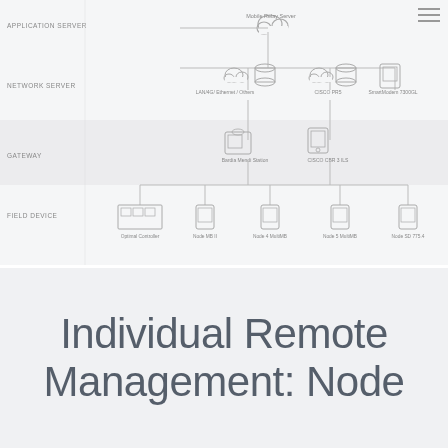[Figure (network-graph): Network architecture diagram showing layers: Application Server, Network Server, Gateway, and Field Device. Components include Mobile Relay Server (cloud), LAN/4G/Ethernet/Others, CISCO PR5, SmartModem 7300GL, Bardia Mendi Station, CISCO CBR 3 ILS, Optimal Controller, Node MB II, Node 4 MultiMB, Node 5 MultiMB, Node SD 775.4. Connected by lines indicating network topology.]
Individual Remote Management: Node